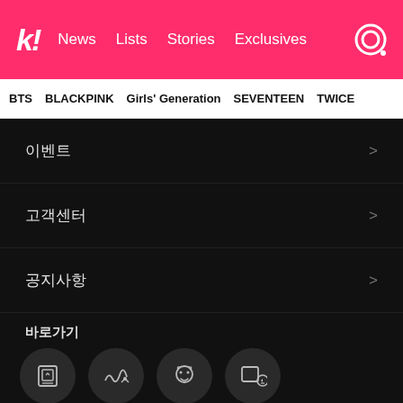k! News Lists Stories Exclusives
BTS  BLACKPINK  Girls' Generation  SEVENTEEN  TWICE
이벤트
고객센터
공지사항
바로가기
멜론차트
장르음악
멜론키즈
방금그곡